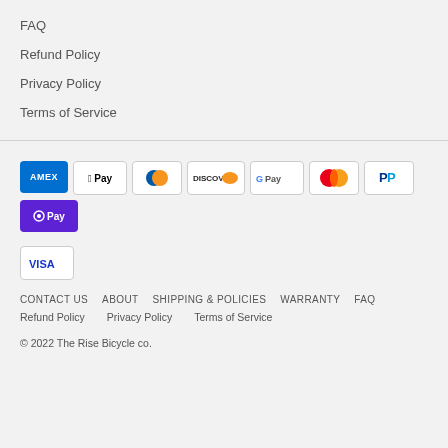FAQ
Refund Policy
Privacy Policy
Terms of Service
[Figure (other): Payment method icons: AMEX, Apple Pay, Diners Club, Discover, Google Pay, Mastercard, PayPal, OPay, Visa]
CONTACT US   ABOUT   SHIPPING & POLICIES   WARRANTY   FAQ
Refund Policy   Privacy Policy   Terms of Service
© 2022 The Rise Bicycle co.